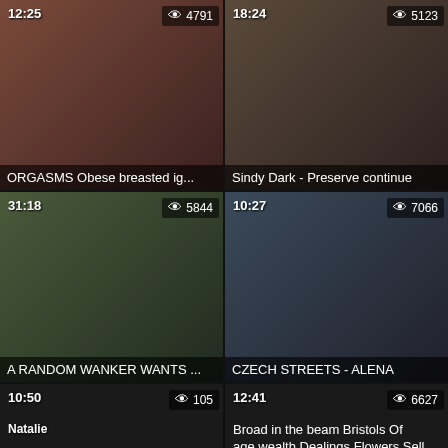[Figure (screenshot): Video thumbnail grid showing 6 video thumbnails with durations, view counts, and titles. Top-left: 12:25, 4791 views, ORGASMS Obese breasted ig... Top-right: 18:24, 5123 views, Sindy Dark - Preserve continue. Middle-left: 31:18, 5844 views, A RANDOM WANKER WANTS ... Middle-right: 10:27, 7066 views, CZECH STREETS - ALENA. Bottom-left: 10:50, 105 views, Natalie. Bottom-right: 12:41, 6627 views, Broad in the beam Bristols Of age wealth Dealings Flowers Sell out.]